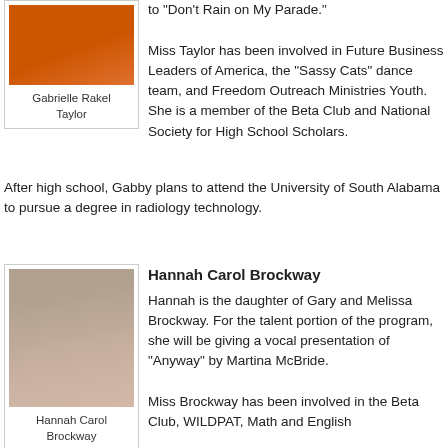[Figure (photo): Photo of Gabrielle Rakel Taylor wearing orange top]
Gabrielle Rakel Taylor
to "Don't Rain on My Parade."

Miss Taylor has been involved in Future Business Leaders of America, the “Sassy Cats” dance team, and Freedom Outreach Ministries Youth. She is a member of the Beta Club and National Society for High School Scholars.
After high school, Gabby plans to attend the University of South Alabama to pursue a degree in radiology technology.
[Figure (photo): Photo of Hannah Carol Brockway in pink top with brown background]
Hannah Carol Brockway
Hannah Carol Brockway
Hannah is the daughter of Gary and Melissa Brockway. For the talent portion of the program, she will be giving a vocal presentation of “Anyway” by Martina McBride.

Miss Brockway has been involved in the Beta Club, WILDPAT, Math and English